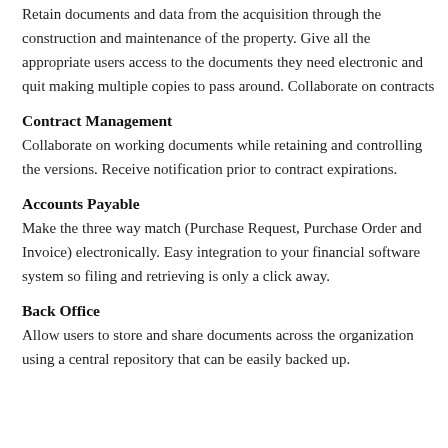Retain documents and data from the acquisition through the construction and maintenance of the property. Give all the appropriate users access to the documents they need electronic and quit making multiple copies to pass around. Collaborate on contracts
Contract Management
Collaborate on working documents while retaining and controlling the versions. Receive notification prior to contract expirations.
Accounts Payable
Make the three way match (Purchase Request, Purchase Order and Invoice) electronically. Easy integration to your financial software system so filing and retrieving is only a click away.
Back Office
Allow users to store and share documents across the organization using a central repository that can be easily backed up.